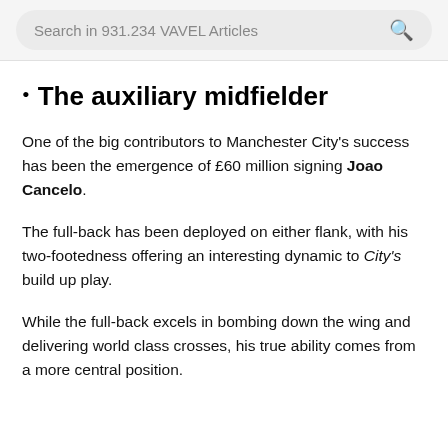Search in 931.234 VAVEL Articles
The auxiliary midfielder
One of the big contributors to Manchester City's success has been the emergence of £60 million signing Joao Cancelo.
The full-back has been deployed on either flank, with his two-footedness offering an interesting dynamic to City's build up play.
While the full-back excels in bombing down the wing and delivering world class crosses, his true ability comes from a more central position.